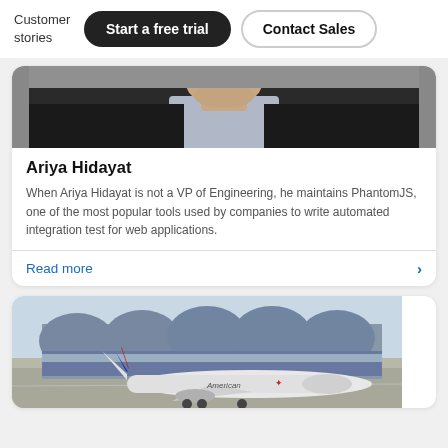Customer stories | Start a free trial | Contact Sales
[Figure (photo): Cropped photo of Ariya Hidayat, a man in a dark jacket]
Ariya Hidayat
When Ariya Hidayat is not a VP of Engineering, he maintains PhantomJS, one of the most popular tools used by companies to write automated integration test for web applications.
Read more
[Figure (photo): An American Airlines aircraft on a tarmac with hangar buildings in the background]